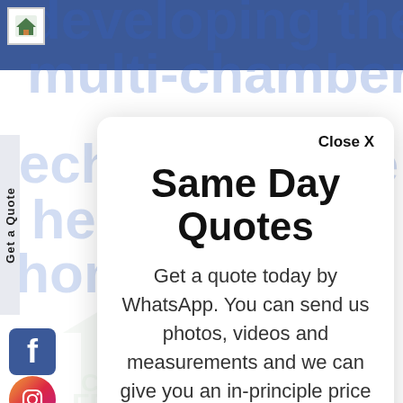[Figure (screenshot): Background webpage with blue header bar, faded large blue text reading 'developing the latest in multi-chambered profile technology, we make sure the heat stays in your home.' with home icon logo, Get a Quote vertical tab, Facebook and Instagram social icons, and a watermark graphic.]
Same Day Quotes
Get a quote today by WhatsApp. You can send us photos, videos and measurements and we can give you an in-principle price right there and then in most